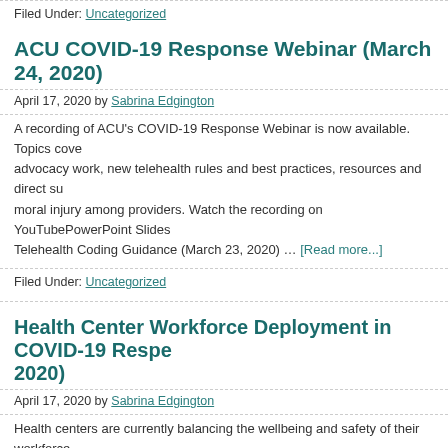Filed Under: Uncategorized
ACU COVID-19 Response Webinar (March 24, 2020)
April 17, 2020 by Sabrina Edgington
A recording of ACU's COVID-19 Response Webinar is now available. Topics covered: advocacy work, new telehealth rules and best practices, resources and direct support, moral injury among providers. Watch the recording on YouTubePowerPoint Slides Telehealth Coding Guidance (March 23, 2020) … [Read more...]
Filed Under: Uncategorized
Health Center Workforce Deployment in COVID-19 Respe 2020)
April 17, 2020 by Sabrina Edgington
Health centers are currently balancing the wellbeing and safety of their workforce COVID-19 pandemic. While "essential" staff are needed on the frontline, "non-ess to wait out the pandemic, or are deployed to perform alternative services to supp Join us in this webinar to learn about workforce strategies employed by health ce COVID-19 crisis. Health center leaders will … [Read more...]